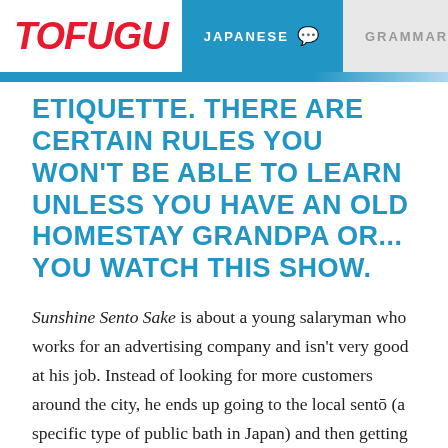TOFUGU | JAPANESE | GRAMMAR
ETIQUETTE. THERE ARE CERTAIN RULES YOU WON'T BE ABLE TO LEARN UNLESS YOU HAVE AN OLD HOMESTAY GRANDPA OR... YOU WATCH THIS SHOW.
Sunshine Sento Sake is about a young salaryman who works for an advertising company and isn't very good at his job. Instead of looking for more customers around the city, he ends up going to the local sentō (a specific type of public bath in Japan) and then getting a beer and some beer-appropriate foods.